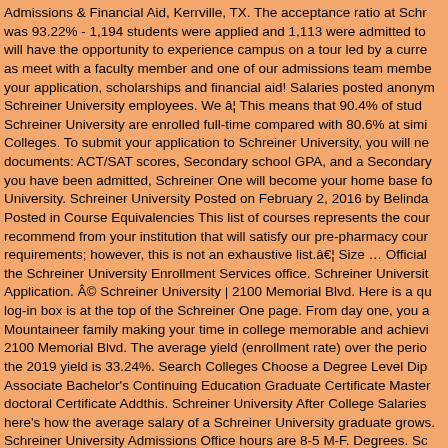Admissions & Financial Aid, Kerrville, TX. The acceptance ratio at Schreiner was 93.22% - 1,194 students were applied and 1,113 were admitted to will have the opportunity to experience campus on a tour led by a current student, as meet with a faculty member and one of our admissions team members to discuss your application, scholarships and financial aid! Salaries posted anonymously by Schreiner University employees. We â¦ This means that 90.4% of students at Schreiner University are enrolled full-time compared with 80.6% at similar Colleges. To submit your application to Schreiner University, you will need the following documents: ACT/SAT scores, Secondary school GPA, and a Secondary school record. If you have been admitted, Schreiner One will become your home base for Schreiner University. Schreiner University Posted on February 2, 2016 by Belinda Quintero Posted in Course Equivalencies This list of courses represents the courses we recommend from your institution that will satisfy our pre-pharmacy course requirements; however, this is not an exhaustive list.â Size … Official the Schreiner University Enrollment Services office. Schreiner University Application. © Schreiner University | 2100 Memorial Blvd. Here is a quick tip — the log-in box is at the top of the Schreiner One page. From day one, you are part of our Mountaineer family making your time in college memorable and achievable. 2100 Memorial Blvd. The average yield (enrollment rate) over the period and the 2019 yield is 33.24%. Search Colleges Choose a Degree Level Diploma Associate Bachelor's Continuing Education Graduate Certificate Master's doctoral Certificate Addthis. Schreiner University After College Salaries here's how the average salary of a Schreiner University graduate grows. Schreiner University Admissions Office hours are 8-5 M-F. Degrees. Schreiner will as a rule accept your: dual credits (from the courses giving both high